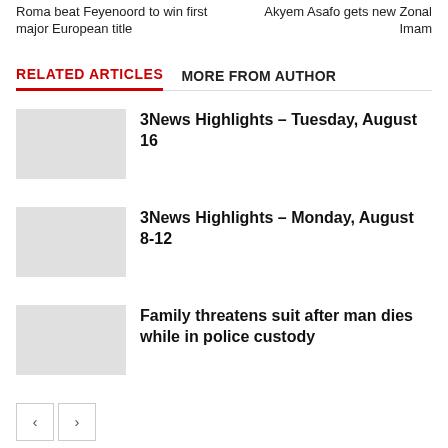Roma beat Feyenoord to win first major European title | Akyem Asafo gets new Zonal Imam
RELATED ARTICLES  MORE FROM AUTHOR
3News Highlights – Tuesday, August 16
3News Highlights – Monday, August 8-12
Family threatens suit after man dies while in police custody